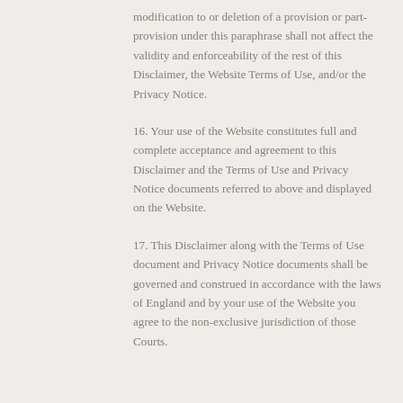modification to or deletion of a provision or part-provision under this paraphrase shall not affect the validity and enforceability of the rest of this Disclaimer, the Website Terms of Use, and/or the Privacy Notice.
16. Your use of the Website constitutes full and complete acceptance and agreement to this Disclaimer and the Terms of Use and Privacy Notice documents referred to above and displayed on the Website.
17. This Disclaimer along with the Terms of Use document and Privacy Notice documents shall be governed and construed in accordance with the laws of England and by your use of the Website you agree to the non-exclusive jurisdiction of those Courts.